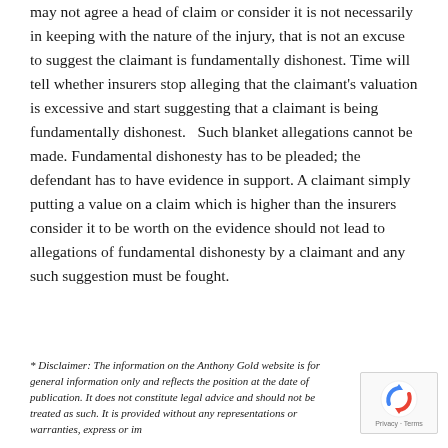may not agree a head of claim or consider it is not necessarily in keeping with the nature of the injury, that is not an excuse to suggest the claimant is fundamentally dishonest. Time will tell whether insurers stop alleging that the claimant's valuation is excessive and start suggesting that a claimant is being fundamentally dishonest.   Such blanket allegations cannot be made. Fundamental dishonesty has to be pleaded; the defendant has to have evidence in support. A claimant simply putting a value on a claim which is higher than the insurers consider it to be worth on the evidence should not lead to allegations of fundamental dishonesty by a claimant and any such suggestion must be fought.
* Disclaimer: The information on the Anthony Gold website is for general information only and reflects the position at the date of publication. It does not constitute legal advice and should not be treated as such. It is provided without any representations or warranties, express or im...